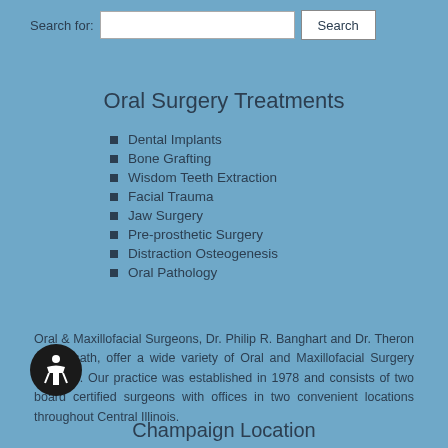Search for: [input] Search
Oral Surgery Treatments
Dental Implants
Bone Grafting
Wisdom Teeth Extraction
Facial Trauma
Jaw Surgery
Pre-prosthetic Surgery
Distraction Osteogenesis
Oral Pathology
Oral & Maxillofacial Surgeons, Dr. Philip R. Banghart and Dr. Theron C. Waisath, offer a wide variety of Oral and Maxillofacial Surgery services. Our practice was established in 1978 and consists of two board certified surgeons with offices in two convenient locations throughout Central Illinois.
Champaign Location